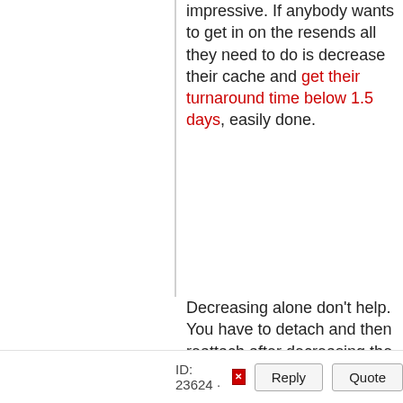impressive. If anybody wants to get in on the resends all they need to do is decrease their cache and get their turnaround time below 1.5 days, easily done.
Decreasing alone don't help. You have to detach and then reattach after decreasing the cache. Because the former turnaround time is the parameter in use!!
ID: 23624 · Reply Quote